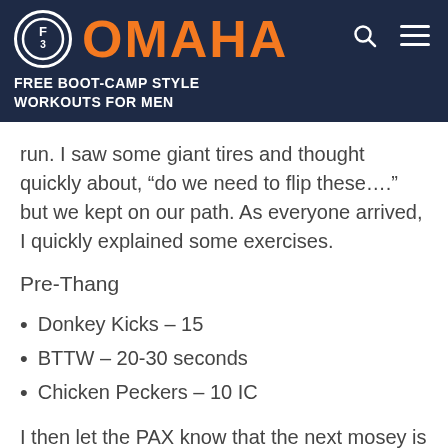[Figure (logo): F3 Omaha logo with orange OMAHA text and F3 circle emblem on dark navy background]
FREE BOOT-CAMP STYLE WORKOUTS FOR MEN
run. I saw some giant tires and thought quickly about, “do we need to flip these….” but we kept on our path. As everyone arrived, I quickly explained some exercises.
Pre-Thang
Donkey Kicks – 15
BTTW – 20-30 seconds
Chicken Peckers – 10 IC
I then let the PAX know that the next mosey is not as long as we made our way north to the